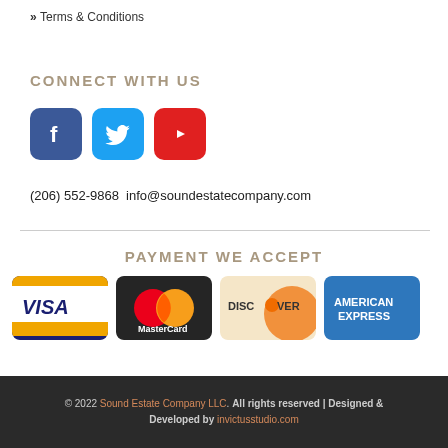» Terms & Conditions
CONNECT WITH US
[Figure (other): Social media icons: Facebook (blue), Twitter (light blue), YouTube (red)]
(206) 552-9868  info@soundestatecompany.com
PAYMENT WE ACCEPT
[Figure (other): Payment method logos: Visa, MasterCard, Discover, American Express]
© 2022 Sound Estate Company LLC. All rights reserved | Designed & Developed by invictusstudio.com